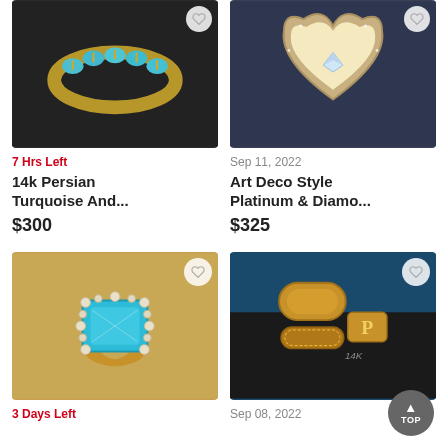[Figure (photo): 14k Persian Turquoise ring with turquoise stones on gold band, shown on dark background]
7 Hrs Left
14k Persian Turquoise And...
$300
[Figure (photo): Art Deco style platinum and diamond ring in a heart-shaped ring box with cream lining]
Sep 11, 2022
Art Deco Style Platinum & Diamo...
$325
[Figure (photo): Large blue topaz ring with diamond halo surround on gold setting]
3 Days Left
[Figure (photo): Three gold rings displayed on dark velvet surface with blue background]
Sep 08, 2022